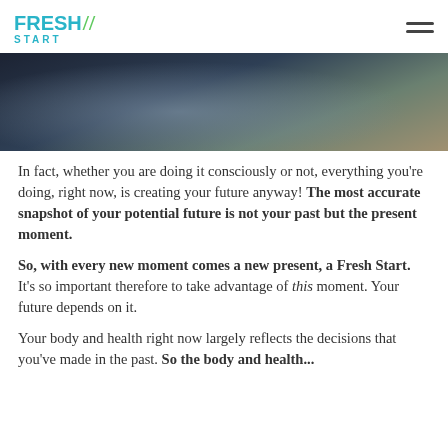FRESH START
[Figure (photo): A person walking on a path outdoors, dark and moody tone with muted blue-brown colors]
In fact, whether you are doing it consciously or not, everything you're doing, right now, is creating your future anyway! The most accurate snapshot of your potential future is not your past but the present moment.
So, with every new moment comes a new present, a Fresh Start. It's so important therefore to take advantage of this moment. Your future depends on it.
Your body and health right now largely reflects the decisions that you've made in the past. So the body and health...